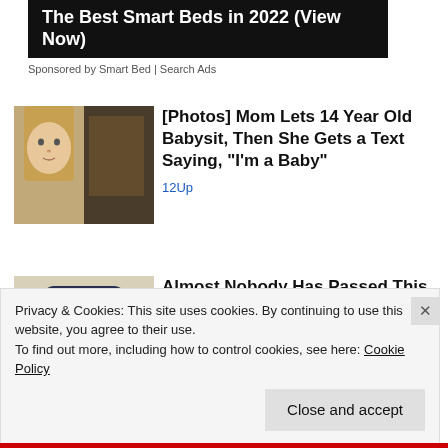[Figure (other): Ad banner with black background reading 'The Best Smart Beds in 2022 (View Now)']
Sponsored by Smart Bed | Search Ads
[Figure (photo): Photo of a young teenage girl with long blonde hair, split image]
[Photos] Mom Lets 14 Year Old Babysit, Then She Gets a Text Saying, "I'm a Baby"
12Up
[Figure (illustration): Illustrated character wearing a dark cowboy hat with white hair]
Almost Nobody Has Passed This Classic Logo Quiz
WarpedSpeed
Privacy & Cookies: This site uses cookies. By continuing to use this website, you agree to their use.
To find out more, including how to control cookies, see here: Cookie Policy
Close and accept